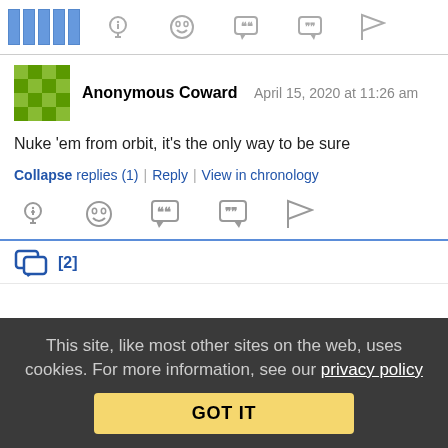[Figure (screenshot): Top navigation bar with blue vertical lines on left and gray icon buttons (lightbulb, emoji/laugh, speech bubble with quote marks, another speech bubble, flag)]
Anonymous Coward   April 15, 2020 at 11:26 am
Nuke 'em from orbit, it's the only way to be sure
Collapse replies (1) | Reply | View in chronology
[Figure (screenshot): Row of gray action icons: lightbulb, laughing emoji, speech bubble with open quote, speech bubble with close quote, flag]
[2]
This site, like most other sites on the web, uses cookies. For more information, see our privacy policy
GOT IT